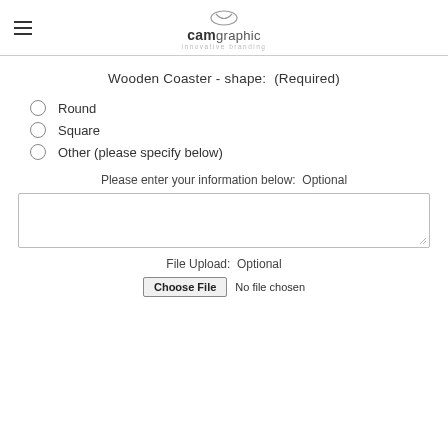camgraphic - Innovative branding
Wooden Coaster - shape:  (Required)
Round
Square
Other (please specify below)
Please enter your information below:  Optional
[text area input box]
File Upload:  Optional
Choose File  No file chosen